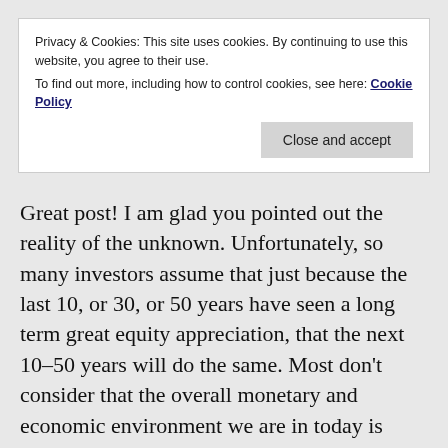Privacy & Cookies: This site uses cookies. By continuing to use this website, you agree to their use.
To find out more, including how to control cookies, see here: Cookie Policy
Close and accept
Great post! I am glad you pointed out the reality of the unknown. Unfortunately, so many investors assume that just because the last 10, or 30, or 50 years have seen a long term great equity appreciation, that the next 10–50 years will do the same. Most don't consider that the overall monetary and economic environment we are in today is wholly uncharted, and to plan an entire financial future on assumptions based on past performance is risky, at best. The next 30 years may continue to see increased valuations and returns in the stock market, but to be overly confident in this